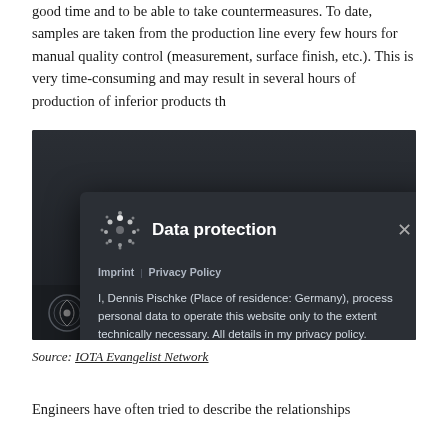good time and to be able to take countermeasures. To date, samples are taken from the production line every few hours for manual quality control (measurement, surface finish, etc.). This is very time-consuming and may result in several hours of production of inferior products th
[Figure (screenshot): Screenshot of a webpage showing a 'Data protection' modal dialog overlay on a dark background. The modal has the IOTA logo, title 'Data protection', links for Imprint and Privacy Policy, body text about data processing, and a green OK button. The underlying page shows IOTA Evangelist Network and SENSERING logos at the bottom.]
Source: IOTA Evangelist Network
Engineers have often tried to describe the relationships